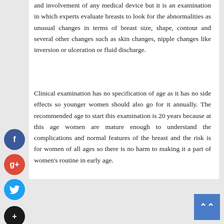and involvement of any medical device but it is an examination in which experts evaluate breasts to look for the abnormalities as unusual changes in terms of breast size, shape, contour and several other changes such as skin changes, nipple changes like inversion or ulceration or fluid discharge.
Clinical examination has no specification of age as it has no side effects so younger women should also go for it annually. The recommended age to start this examination is 20 years because at this age women are mature enough to understand the complications and normal features of the breast and the risk is for women of all ages so there is no harm to making it a part of women's routine in early age.